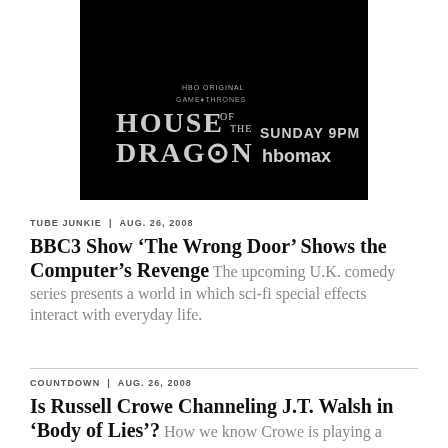[Figure (screenshot): House of the Dragon HBO Max advertisement showing the show logo and 'SUNDAY 9PM HBO max' text on a black background with an HBO Original Game of Thrones banner.]
TUBE JUNKIE | AUG. 26, 2008
BBC3 Show ‘The Wrong Door’ Shows the Computer’s Revenge
The upcoming U.K. comedy series presents a world in which sci-fi special effects interact with everyday life.
COUNTDOWN | AUG. 26, 2008
Is Russell Crowe Channeling J.T. Walsh in ‘Body of Lies’?
How we know Crowe is playing a